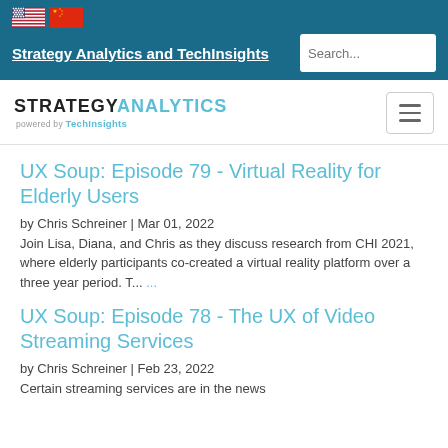Strategy Analytics and TechInsights
[Figure (logo): Strategy Analytics powered by TechInsights logo with hamburger menu]
UX Soup: Episode 79 - Virtual Reality for Elderly Users
by Chris Schreiner | Mar 01, 2022
Join Lisa, Diana, and Chris as they discuss research from CHI 2021, where elderly participants co-created a virtual reality platform over a three year period. T... ...
UX Soup: Episode 78 - The UX of Video Streaming Services
by Chris Schreiner | Feb 23, 2022
Certain streaming services are in the news